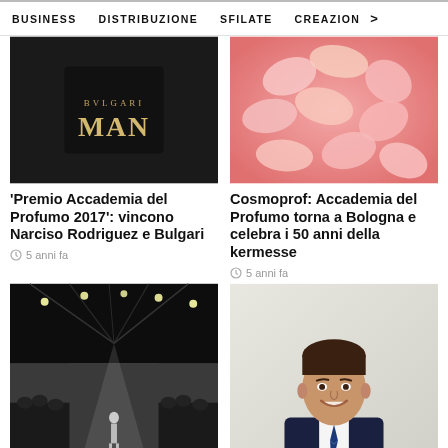BUSINESS   DISTRIBUZIONE   SFILATE   CREAZION  >
[Figure (photo): Bvlgari Man fragrance bottle on dark background]
'Premio Accademia del Profumo 2017': vincono Narciso Rodriguez e Bulgari
5 anni fa
[Figure (photo): Close-up of pink flower petals]
Cosmoprof: Accademia del Profumo torna a Bologna e celebra i 50 anni della kermesse
5 anni fa
[Figure (photo): Fashion runway show in large dark industrial venue with audience]
[Figure (photo): Smiling man in dark suit and blue tie, professional portrait]